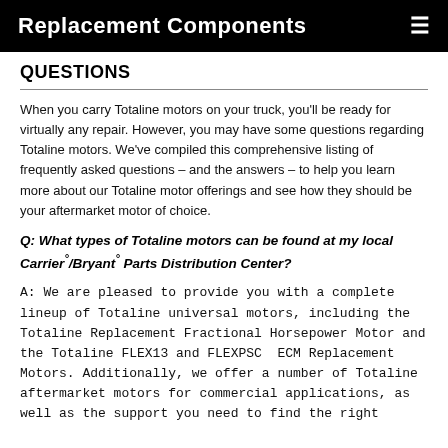Replacement Components
QUESTIONS
When you carry Totaline motors on your truck, you’ll be ready for virtually any repair. However, you may have some questions regarding Totaline motors. We’ve compiled this comprehensive listing of frequently asked questions – and the answers – to help you learn more about our Totaline motor offerings and see how they should be your aftermarket motor of choice.
Q: What types of Totaline motors can be found at my local Carrier°/Bryant° Parts Distribution Center?
A: We are pleased to provide you with a complete lineup of Totaline universal motors, including the Totaline Replacement Fractional Horsepower Motor and the Totaline FLEX13 and FLEXPSC ECM Replacement Motors. Additionally, we offer a number of Totaline aftermarket motors for commercial applications, as well as the support you need to find the right